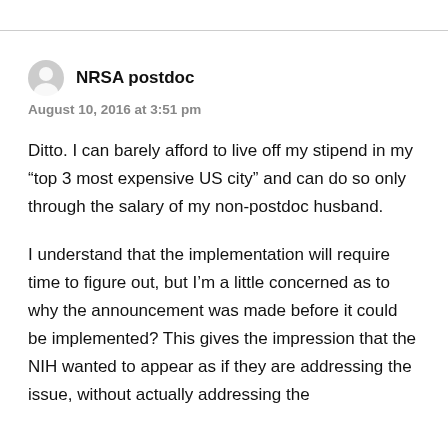NRSA postdoc
August 10, 2016 at 3:51 pm
Ditto. I can barely afford to live off my stipend in my “top 3 most expensive US city” and can do so only through the salary of my non-postdoc husband.
I understand that the implementation will require time to figure out, but I’m a little concerned as to why the announcement was made before it could be implemented? This gives the impression that the NIH wanted to appear as if they are addressing the issue, without actually addressing the